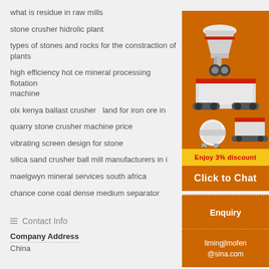what is residue in raw mills
stone crusher hidrolic plant
types of stones and rocks for the constraction of plants
high efficiency hot ce mineral processing flotation machine
olx kenya ballast crusher   land for iron ore in
quarry stone crusher machine price
vibrating screen design for stone
silica sand crusher ball mill manufacturers in i
maelgwyn mineral services south africa
chance cone coal dense medium separator
[Figure (illustration): Orange advertisement panel with images of mining/crushing machines, 'Enjoy 3% discount' yellow bar, 'Click to Chat' button, 'Enquiry' section, and email limingjlmofen@sina.com]
Contact Info
Company Address
China